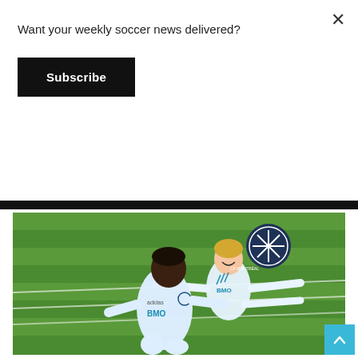Want your weekly soccer news delivered?
Subscribe
H....
[Figure (photo): Two CF Montréal soccer players in light blue BMO-sponsored jerseys on a grass field. Foreground player is a Black man running, background player is a smiling white man with arms outstretched. CF Montréal snowflake crest logo visible in upper right of image.]